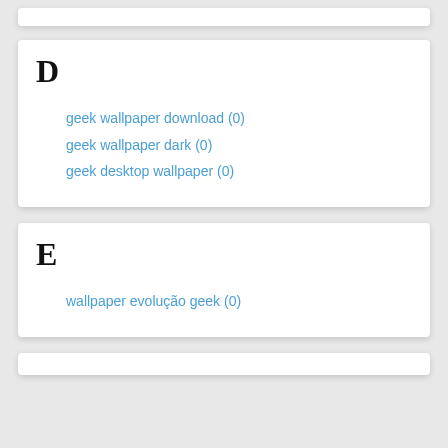D
geek wallpaper download (0)
geek wallpaper dark (0)
geek desktop wallpaper (0)
E
wallpaper evolução geek (0)